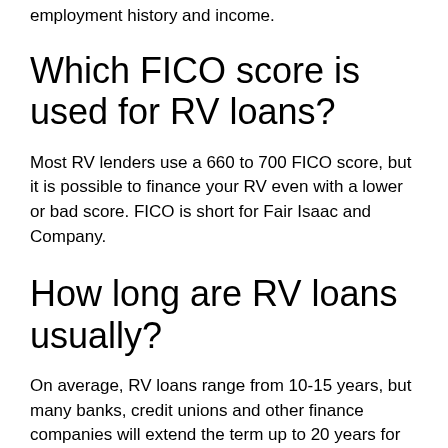employment history and income.
Which FICO score is used for RV loans?
Most RV lenders use a 660 to 700 FICO score, but it is possible to finance your RV even with a lower or bad score. FICO is short for Fair Isaac and Company.
How long are RV loans usually?
On average, RV loans range from 10-15 years, but many banks, credit unions and other finance companies will extend the term up to 20 years for loans of $50,000 or more